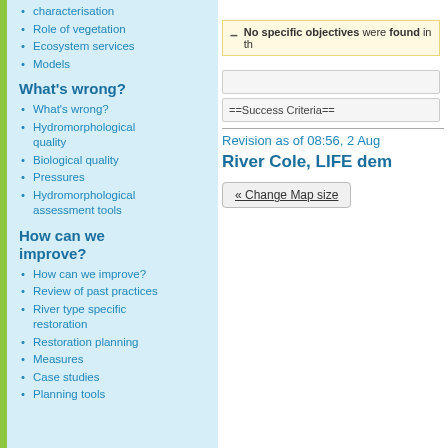characterisation
Role of vegetation
Ecosystem services
Models
What's wrong?
What's wrong?
Hydromorphological quality
Biological quality
Pressures
Hydromorphological assessment tools
How can we improve?
How can we improve?
Review of past practices
River type specific restoration
Restoration planning
Measures
Case studies
Planning tools
No specific objectives were found in th...
==Success Criteria==
Revision as of 08:56, 2 Aug
River Cole, LIFE dem
« Change Map size